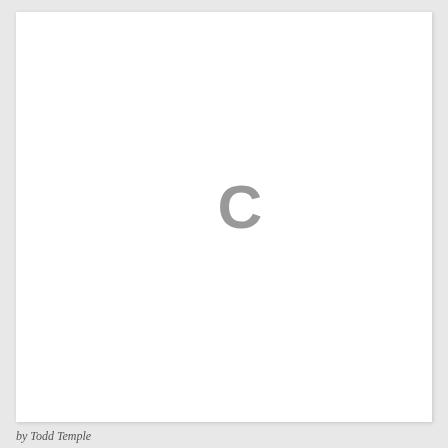[Figure (illustration): White box with a large gray letter C centered on it, resembling a loading spinner or copyright symbol placeholder]
by Todd Temple